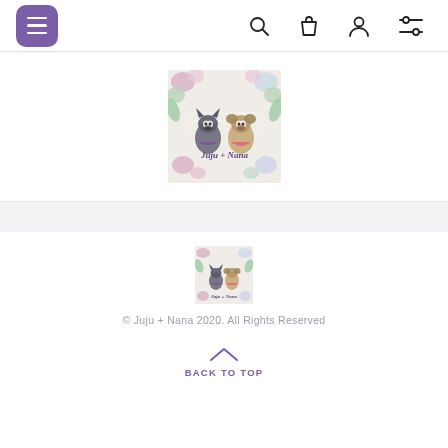[Figure (screenshot): Navigation header with purple hamburger menu button and icons for search, shopping bag, user account, and settings/filter]
[Figure (logo): Juju + Nana brand logo showing two dogs (French Bulldog and Pug) with floral border and script text 'Juju + Nana']
[Figure (logo): Small Juju + Nana brand logo in footer]
© Juju + Nana 2020. All Rights Reserved
BACK TO TOP